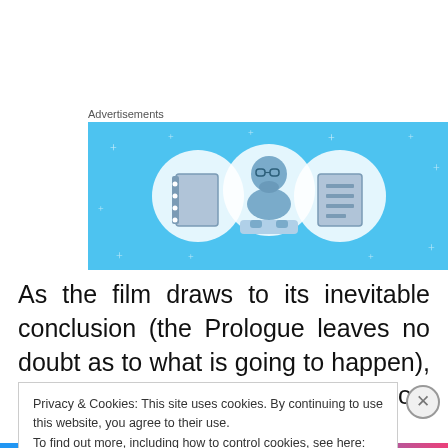Advertisements
[Figure (illustration): Advertisement banner with light blue background showing three circular icons: a notebook, a cartoon figure of a person with glasses and beard sitting at a desk, and a document/list icon. Small star/cross decorative elements scattered around.]
As the film draws to its inevitable conclusion (the Prologue leaves no doubt as to what is going to happen), Justine is also the only one to show any true selflessness,
Privacy & Cookies: This site uses cookies. By continuing to use this website, you agree to their use.
To find out more, including how to control cookies, see here: Cookie Policy
Close and accept